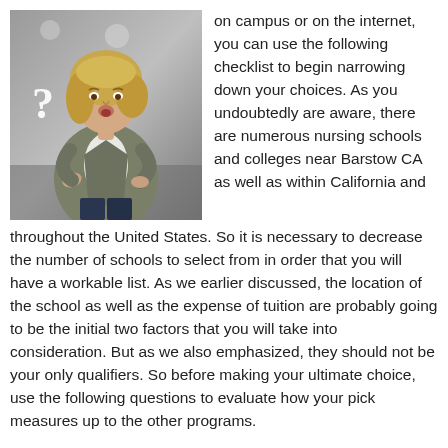[Figure (photo): A woman with blonde hair wearing a grey-green jacket over a white top and dark jeans, posed with a questioning expression. There are question mark symbols overlaid on the image.]
on campus or on the internet, you can use the following checklist to begin narrowing down your choices. As you undoubtedly are aware, there are numerous nursing schools and colleges near Barstow CA as well as within California and throughout the United States. So it is necessary to decrease the number of schools to select from in order that you will have a workable list. As we earlier discussed, the location of the school as well as the expense of tuition are probably going to be the initial two factors that you will take into consideration. But as we also emphasized, they should not be your only qualifiers. So before making your ultimate choice, use the following questions to evaluate how your pick measures up to the other programs.